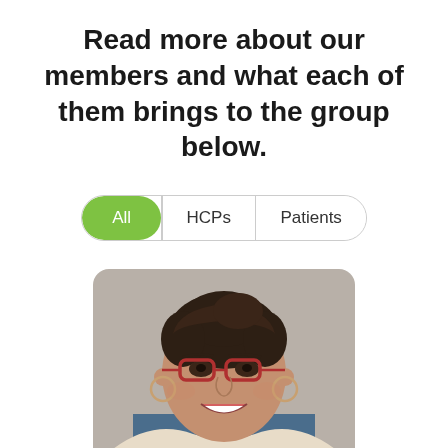Read more about our members and what each of them brings to the group below.
[Figure (other): Filter toggle bar with three options: 'All' (selected, green background), 'HCPs', 'Patients']
[Figure (photo): Portrait photo of a smiling woman with dark hair pulled up, wearing red-framed glasses, hoop earrings, a denim shirt and a cream knitted wrap/shawl, photographed against a grey background.]